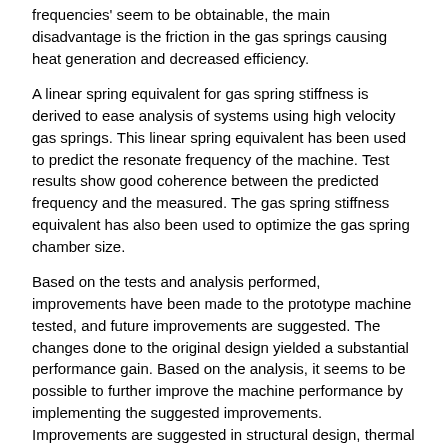frequencies' seem to be obtainable, the main disadvantage is the friction in the gas springs causing heat generation and decreased efficiency.
A linear spring equivalent for gas spring stiffness is derived to ease analysis of systems using high velocity gas springs. This linear spring equivalent has been used to predict the resonate frequency of the machine. Test results show good coherence between the predicted frequency and the measured. The gas spring stiffness equivalent has also been used to optimize the gas spring chamber size.
Based on the tests and analysis performed, improvements have been made to the prototype machine tested, and future improvements are suggested. The changes done to the original design yielded a substantial performance gain. Based on the analysis, it seems to be possible to further improve the machine performance by implementing the suggested improvements. Improvements are suggested in structural design, thermal design, surface texture, seal configuration, lubrication and tolerances. To confirm the results from the tests and analysis found in this thesis further testing needs to be performed.
Beskrivelse